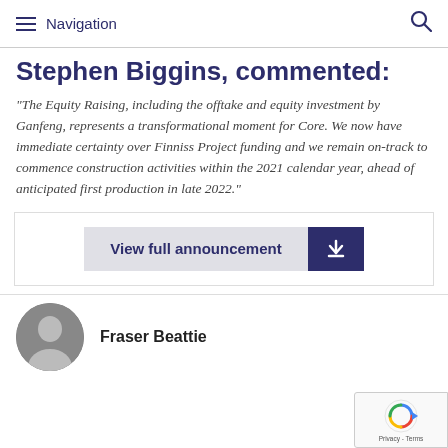Navigation
Stephen Biggins, commented:
“The Equity Raising, including the offtake and equity investment by Ganfeng, represents a transformational moment for Core. We now have immediate certainty over Finniss Project funding and we remain on-track to commence construction activities within the 2021 calendar year, ahead of anticipated first production in late 2022.”
[Figure (other): View full announcement button with download arrow icon]
Fraser Beattie
[Figure (photo): Circular portrait photo of Fraser Beattie]
[Figure (other): reCAPTCHA privacy badge with circular arrow logo, Privacy - Terms text]